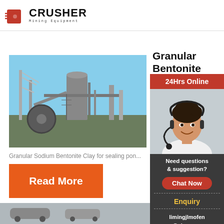[Figure (logo): Crusher Mining Equipment logo with red shopping bag icon and bold CRUSHER text]
[Figure (photo): Industrial mining crusher/processing plant machinery with large equipment structure]
Granular Bentonite Clay for Sealing pounds
Granular Sodium Bentonite Clay for sealing pon...
[Figure (photo): Customer service representative with headset - 24Hrs Online support]
Read More
Need questions & suggestion?
Chat Now
Enquiry
limingjlmofen@sina.com
[Figure (photo): Bottom article image strip]